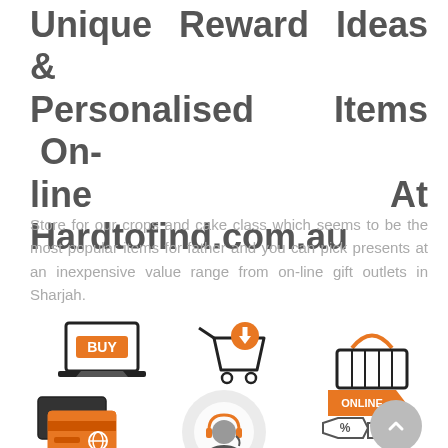Unique Reward Ideas & Personalised Items Online At Hardtofind.com.au
Store for our crops and cake class which seems to be the most popular items for father and you can pick presents at an inexpensive value range from on-line gift outlets in Sharjah.
[Figure (infographic): Row of three e-commerce icons: laptop with BUY button, shopping cart with download arrow, and shopping basket]